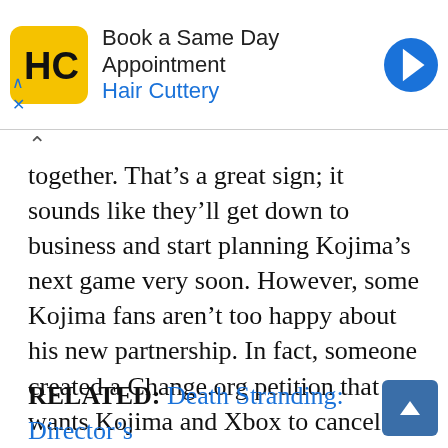[Figure (screenshot): Advertisement banner for Hair Cuttery: 'Book a Same Day Appointment' with yellow HC logo and blue arrow icon. Ad controls (chevron up, X) visible below.]
together. That's a great sign; it sounds like they'll get down to business and start planning Kojima's next game very soon. However, some Kojima fans aren't too happy about his new partnership. In fact, someone created a Change.org petition that wants Kojima and Xbox to cancel their collaboration. Although it doesn't look like the petition will go anywhere, it could say something about the future of Kojima's new game.
RELATED: Death Stranding: Director's